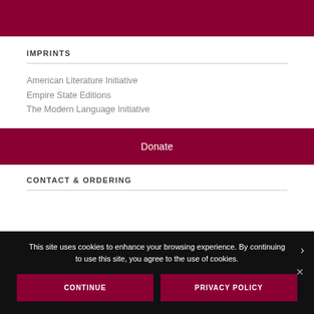IMPRINTS
American Literature Initiative
Empire State Editions
The Modern Language Initiative
Donate
CONTACT & ORDERING
This site uses cookies to enhance your browsing experience. By continuing to use this site, you agree to the use of cookies.
CONTINUE
PRIVACY POLICY